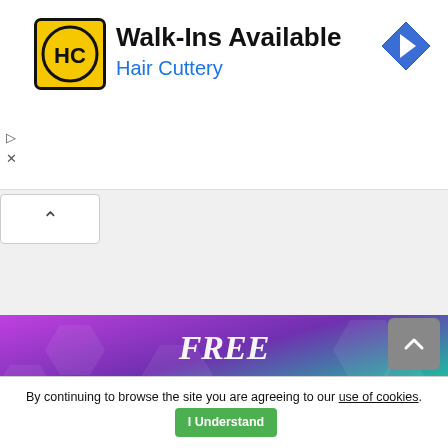[Figure (screenshot): Hair Cuttery advertisement banner with logo, 'Walk-Ins Available' text, and navigation arrow]
[Figure (screenshot): Collapse/expand chevron button below ad banner]
[Figure (infographic): Free Moon Reading - Personalized Astrology Reading advertisement with colorful purple and teal background]
[Figure (screenshot): Scroll to top button (gray with up chevron)]
By continuing to browse the site you are agreeing to our use of cookies. I Understand